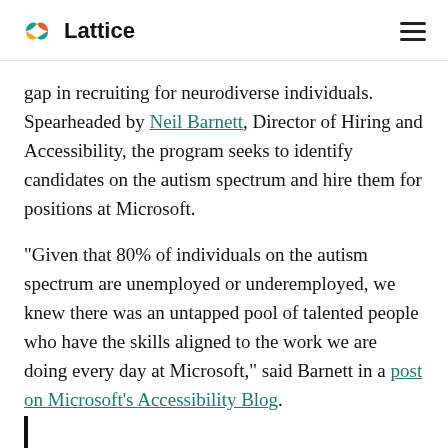Lattice
gap in recruiting for neurodiverse individuals. Spearheaded by Neil Barnett, Director of Hiring and Accessibility, the program seeks to identify candidates on the autism spectrum and hire them for positions at Microsoft.
“Given that 80% of individuals on the autism spectrum are unemployed or underemployed, we knew there was an untapped pool of talented people who have the skills aligned to the work we are doing every day at Microsoft,” said Barnett in a post on Microsoft’s Accessibility Blog.